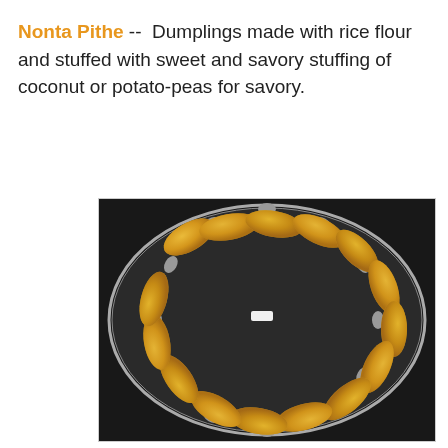Nonta Pithe -- Dumplings made with rice flour and stuffed with sweet and savory stuffing of coconut or potato-peas for savory.
[Figure (photo): Photograph of Nonta Pithe dumplings arranged in a circular pattern on a decorative silver plate. The dumplings are golden-yellow, crescent-shaped, and displayed on an ornate metal tray with floral/leaf embossed edges.]